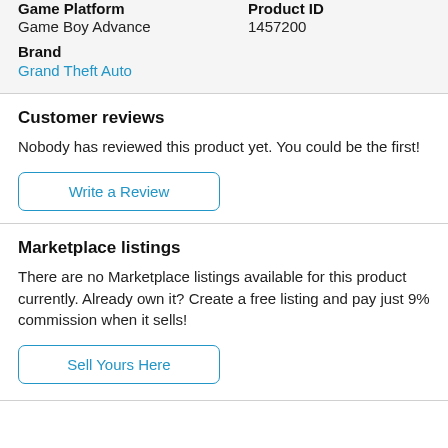| Game Platform | Product ID |
| --- | --- |
| Game Boy Advance | 1457200 |
Brand
Grand Theft Auto
Customer reviews
Nobody has reviewed this product yet. You could be the first!
Write a Review
Marketplace listings
There are no Marketplace listings available for this product currently. Already own it? Create a free listing and pay just 9% commission when it sells!
Sell Yours Here